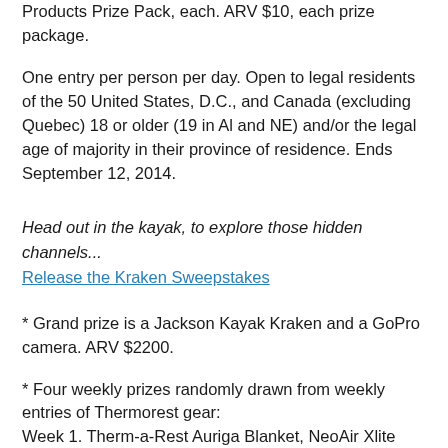Products Prize Pack, each. ARV $10, each prize package.
One entry per person per day. Open to legal residents of the 50 United States, D.C., and Canada (excluding Quebec) 18 or older (19 in Al and NE) and/or the legal age of majority in their province of residence. Ends September 12, 2014.
Head out in the kayak, to explore those hidden channels... Release the Kraken Sweepstakes
* Grand prize is a Jackson Kayak Kraken and a GoPro camera. ARV $2200.
* Four weekly prizes randomly drawn from weekly entries of Thermorest gear: Week 1. Therm-a-Rest Auriga Blanket, NeoAir Xlite Mattress, Universal Sheet. Week 2. Therm-a-Rest LuxuryLite Mesh Cot. Week 3. Therm-a-Rest Antares 20F Down Sleeping Bag and NeoAir All Season mattress. Week 4. Therm-a-Rest LuxuryLite UltraLite Cot and Bug